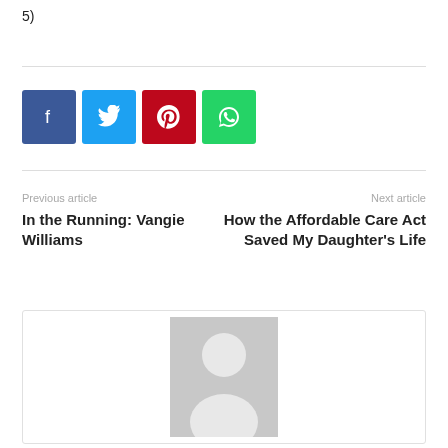5)
[Figure (other): Social share buttons: Facebook (blue), Twitter (light blue), Pinterest (red), WhatsApp (green)]
Previous article
In the Running: Vangie Williams
Next article
How the Affordable Care Act Saved My Daughter's Life
[Figure (photo): Default author avatar placeholder image with grey background and white silhouette of a person]